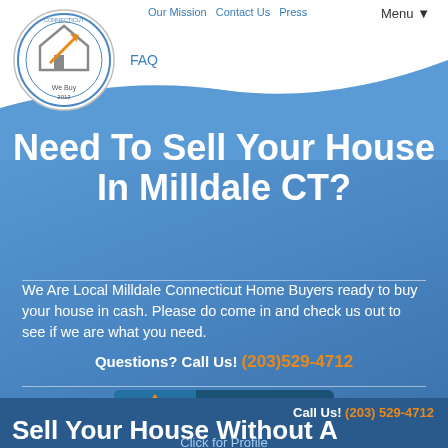Our Mission  Contact Us  Press  FAQ  Menu ▼
[Figure (logo): Circular company logo badge with house/arrow icon, BBB style seal]
Need To Sell Your House In Milldale CT?
We Are Local Milldale Connecticut Home Buyers ready to buy your house in cash. Please do come in and check us out to see if we are what you need.
Questions? Call Us! (203)529-4712
[Figure (logo): BBB Accredited Business badge with blue background]
Click for Profile
Call Us! (203) 529-4712
Sell Your House Without A